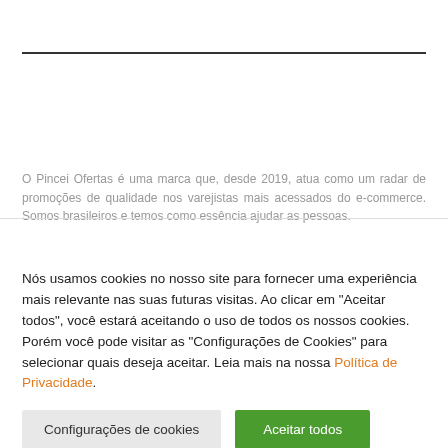O Pincei Ofertas é uma marca que, desde 2019, atua como um radar de promoções de qualidade nos varejistas mais acessados do e-commerce. Somos brasileiros e temos como essência ajudar as pessoas.
Nós usamos cookies no nosso site para fornecer uma experiência mais relevante nas suas futuras visitas. Ao clicar em "Aceitar todos", você estará aceitando o uso de todos os nossos cookies. Porém você pode visitar as "Configurações de Cookies" para selecionar quais deseja aceitar. Leia mais na nossa Política de Privacidade.